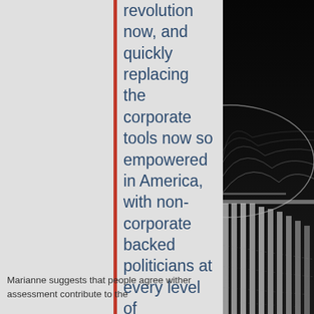revolution now, and quickly replacing the corporate tools now so empowered in America, with non-corporate backed politicians at every level of government-- or the future will be more than bleak. It will be deadly, if not to our citizens then definitely to our democracy.
That's a tragedy we must not allow to unfold.
Marianne suggests that people agree wither assessment contribute to the
[Figure (photo): Black and white photo of the US Capitol building dome columns on the right side of the page]